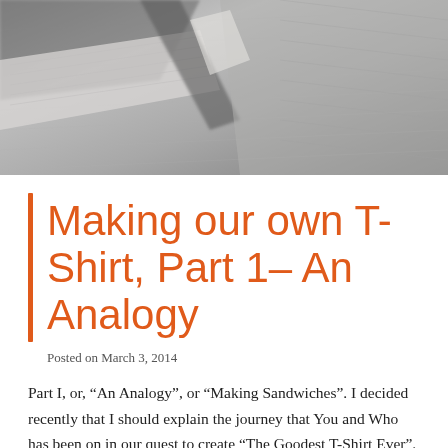[Figure (photo): Close-up photograph of grey/white folded fabric texture, appears to be a t-shirt or similar knit textile material.]
Making our own T-Shirt, Part 1– An Analogy
Posted on March 3, 2014
Part I, or, “An Analogy”, or “Making Sandwiches”. I decided recently that I should explain the journey that You and Who has been on in our quest to create “The Goodest T-Shirt Ever”.